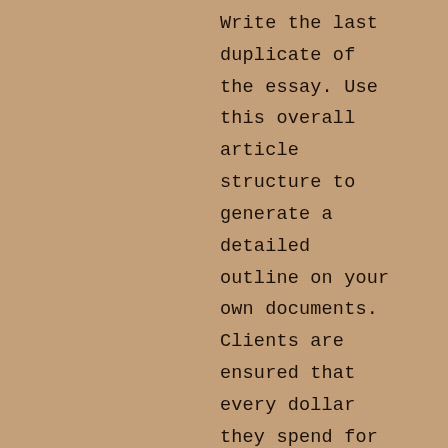Write the last duplicate of the essay. Use this overall article structure to generate a detailed outline on your own documents. Clients are ensured that every dollar they spend for the essay can be worth. They don't become